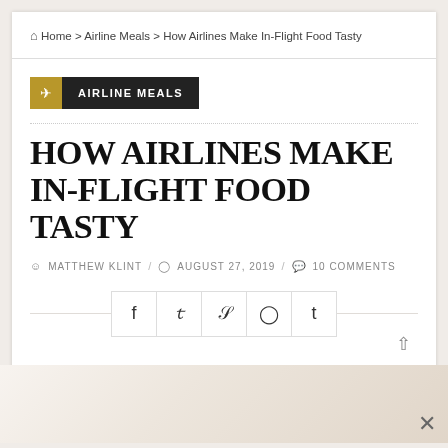Home > Airline Meals > How Airlines Make In-Flight Food Tasty
AIRLINE MEALS
HOW AIRLINES MAKE IN-FLIGHT FOOD TASTY
MATTHEW KLINT / AUGUST 27, 2019 / 10 COMMENTS
[Figure (infographic): Social share buttons row: Facebook, Twitter, StumbleUpon, Reddit, Tumblr icons]
[Figure (photo): Partial image of airline food at the bottom of the page, cropped]